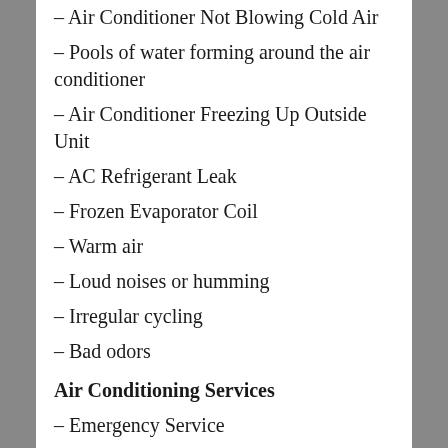– Air Conditioner Not Blowing Cold Air
– Pools of water forming around the air conditioner
– Air Conditioner Freezing Up Outside Unit
– AC Refrigerant Leak
– Frozen Evaporator Coil
– Warm air
– Loud noises or humming
– Irregular cycling
– Bad odors
Air Conditioning Services
– Emergency Service
– Repair Service
– New Air Conditioner Sales
– Air Conditioner Installation
– Air Conditioning Replacement
– High Efficiency Air Conditioner Upgrades